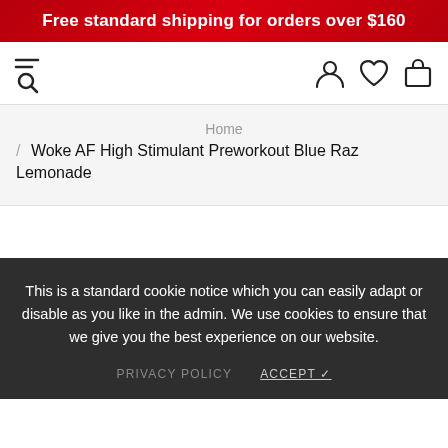Free standard shipping for orders over $160
[Figure (screenshot): Navigation bar with hamburger/search icon on left and user, wishlist, cart icons on right]
Home / Woke AF High Stimulant Preworkout Blue Raz Lemonade
This is a standard cookie notice which you can easily adapt or disable as you like in the admin. We use cookies to ensure that we give you the best experience on our website.
PRIVACY POLICY    ACCEPT ✓